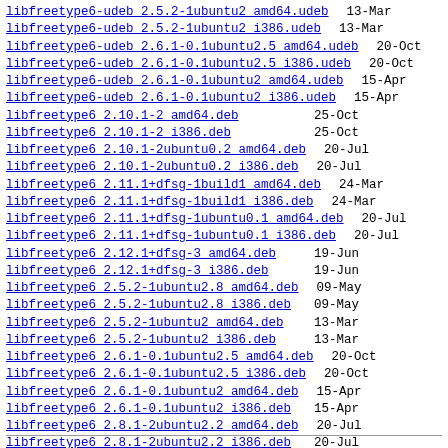libfreetype6-udeb 2.5.2-1ubuntu2 amd64.udeb  13-Mar
libfreetype6-udeb 2.5.2-1ubuntu2 i386.udeb  13-Mar
libfreetype6-udeb 2.6.1-0.1ubuntu2.5 amd64.udeb  20-Oct
libfreetype6-udeb 2.6.1-0.1ubuntu2.5 i386.udeb  20-Oct
libfreetype6-udeb 2.6.1-0.1ubuntu2 amd64.udeb  15-Apr
libfreetype6-udeb 2.6.1-0.1ubuntu2 i386.udeb  15-Apr
libfreetype6 2.10.1-2 amd64.deb  25-Oct
libfreetype6 2.10.1-2 i386.deb  25-Oct
libfreetype6 2.10.1-2ubuntu0.2 amd64.deb  20-Jul
libfreetype6 2.10.1-2ubuntu0.2 i386.deb  20-Jul
libfreetype6 2.11.1+dfsg-1build1 amd64.deb  24-Mar
libfreetype6 2.11.1+dfsg-1build1 i386.deb  24-Mar
libfreetype6 2.11.1+dfsg-1ubuntu0.1 amd64.deb  20-Jul
libfreetype6 2.11.1+dfsg-1ubuntu0.1 i386.deb  20-Jul
libfreetype6 2.12.1+dfsg-3 amd64.deb  19-Jun
libfreetype6 2.12.1+dfsg-3 i386.deb  19-Jun
libfreetype6 2.5.2-1ubuntu2.8 amd64.deb  09-May
libfreetype6 2.5.2-1ubuntu2.8 i386.deb  09-May
libfreetype6 2.5.2-1ubuntu2 amd64.deb  13-Mar
libfreetype6 2.5.2-1ubuntu2 i386.deb  13-Mar
libfreetype6 2.6.1-0.1ubuntu2.5 amd64.deb  20-Oct
libfreetype6 2.6.1-0.1ubuntu2.5 i386.deb  20-Oct
libfreetype6 2.6.1-0.1ubuntu2 amd64.deb  15-Apr
libfreetype6 2.6.1-0.1ubuntu2 i386.deb  15-Apr
libfreetype6 2.8.1-2ubuntu2.2 amd64.deb  20-Jul
libfreetype6 2.8.1-2ubuntu2.2 i386.deb  20-Jul
libfreetype6 2.8.1-2ubuntu2 amd64.deb  13-Apr
libfreetype6 2.8.1-2ubuntu2 i386.deb  13-Apr